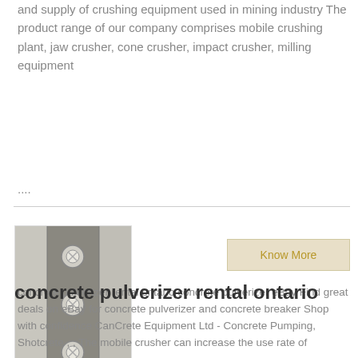and supply of crushing equipment used in mining industry The product range of our company comprises mobile crushing plant, jaw crusher, cone crusher, impact crusher, milling equipment ....
[Figure (photo): Photo of concrete pulverizer equipment showing metal bolts and machinery parts]
concrete pulverizer rental ontario
Know More
concrete pulverizer rental ontario concrete pulverizer eBay Find great deals on eBay for concrete pulverizer and concrete breaker Shop with confidence CanCrete Equipment Ltd - Concrete Pumping, Shotcrete , , The mobile crusher can increase the use rate of